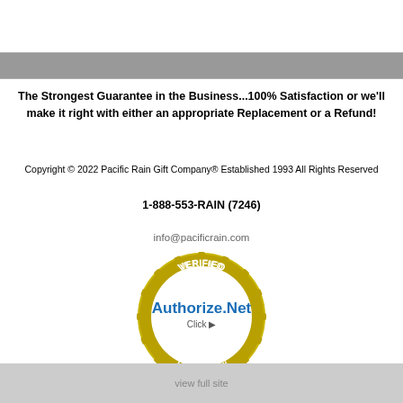The Strongest Guarantee in the Business...100% Satisfaction or we'll make it right with either an appropriate Replacement or a Refund!
Copyright © 2022 Pacific Rain Gift Company® Established 1993 All Rights Reserved
1-888-553-RAIN (7246)
info@pacificrain.com
[Figure (logo): Authorize.Net Verified Merchant seal with gold gear border, blue Authorize.Net Click text, and e-Check label below]
view full site